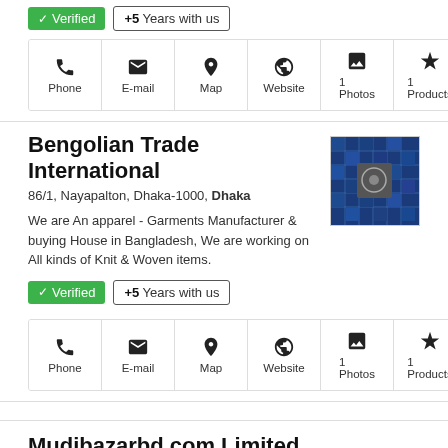✓ Verified  +5 Years with us
Phone  E-mail  Map  Website  1 Photos  1 Products
Bengolian Trade International
86/1, Nayapalton, Dhaka-1000, Dhaka
We are An apparel - Garments Manufacturer & buying House in Bangladesh, We are working on All kinds of Knit & Woven items.
[Figure (photo): Product image showing a blue tiled pattern with a logo in center]
✓ Verified  +5 Years with us
Phone  E-mail  Map  Website  1 Photos  1 Products
Mudibazarbd.com Limited